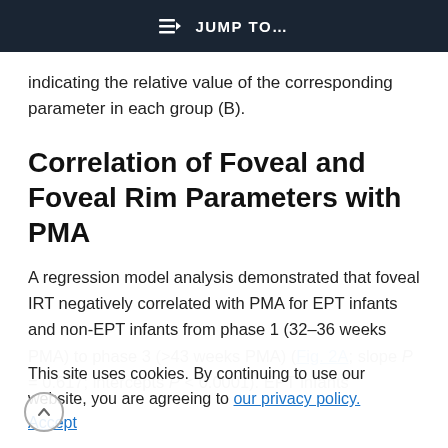JUMP TO…
indicating the relative value of the corresponding parameter in each group (B).
Correlation of Foveal and Foveal Rim Parameters with PMA
A regression model analysis demonstrated that foveal IRT negatively correlated with PMA for EPT infants and non-EPT infants from phase 1 (32–36 weeks PMA) to phase 3 (>43 weeks PMA) (Fig. 2A; slope P = 0.617; intercepts P < 0.0001). EPT infants
This site uses cookies. By continuing to use our website, you are agreeing to our privacy policy.
Accept